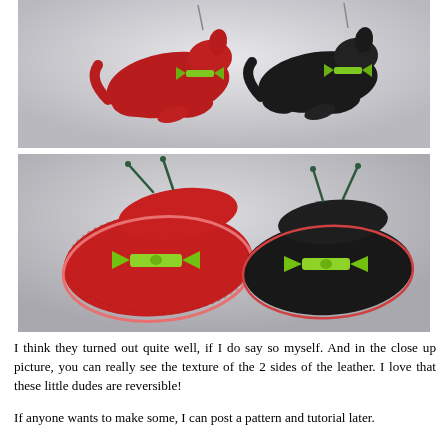[Figure (photo): Two felt cat ornaments hanging – one red and one black – each with a green ribbon bow around the neck, photographed from above against a light background.]
[Figure (photo): Close-up photo of the two reversible leather cat ornaments showing texture of both sides – red suede side and black smooth side – with green ribbon bows and wire antennae.]
I think they turned out quite well, if I do say so myself.  And in the close up picture, you can really see the texture of the 2 sides of the leather.  I love that these little dudes are reversible!
If anyone wants to make some, I can post a pattern and tutorial later.